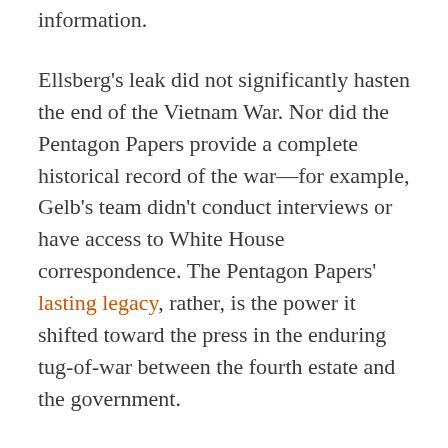information.
Ellsberg's leak did not significantly hasten the end of the Vietnam War. Nor did the Pentagon Papers provide a complete historical record of the war—for example, Gelb's team didn't conduct interviews or have access to White House correspondence. The Pentagon Papers' lasting legacy, rather, is the power it shifted toward the press in the enduring tug-of-war between the fourth estate and the government.
Still, the Supreme Court's ruling only prohibited the government from imposing prior restraint, not prosecuting leakers or publications after the fact. The Obama administration used the Espionage Act to prosecute eight leakers, more prosecutions than